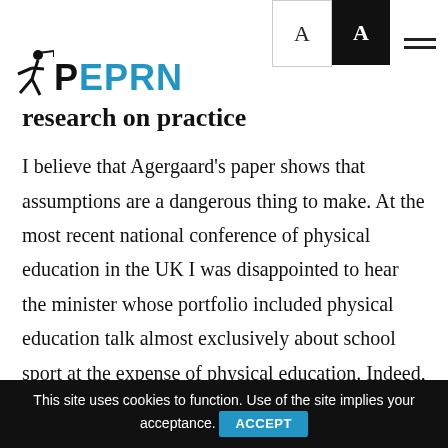PEPRN
research on practice
I believe that Agergaard's paper shows that assumptions are a dangerous thing to make. At the most recent national conference of physical education in the UK I was disappointed to hear the minister whose portfolio included physical education talk almost exclusively about school sport at the expense of physical education. Indeed, such was his faux pas that his assistant (who stayed to answer
This site uses cookies to function. Use of the site implies your acceptance. ACCEPT